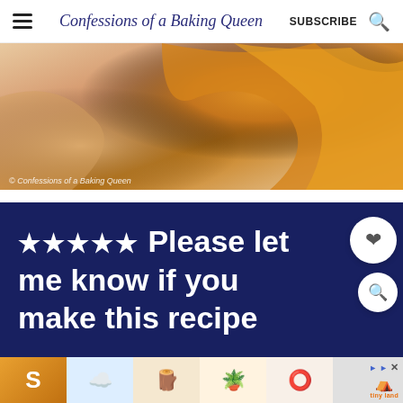Confessions of a Baking Queen  SUBSCRIBE
[Figure (photo): Close-up food photo of bread or pastry with golden-orange coloring, with copyright watermark 'Confessions of a Baking Queen']
★★★★★ Please let me know if you make this recipe
[Figure (other): Advertisement bar at bottom with small product images including decorative items, with Tiny Land branding]